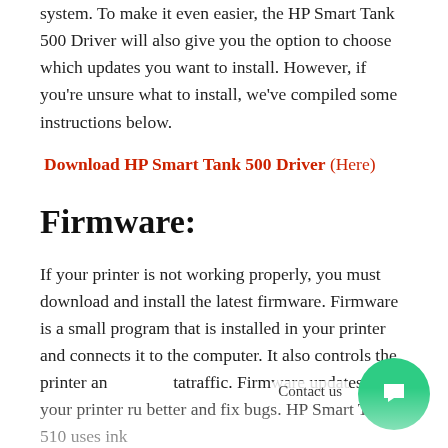system. To make it even easier, the HP Smart Tank 500 Driver will also give you the option to choose which updates you want to install. However, if you're unsure what to install, we've compiled some instructions below.
Download HP Smart Tank 500 Driver (Here)
Firmware:
If your printer is not working properly, you must download and install the latest firmware. Firmware is a small program that is installed in your printer and connects it to the computer. It also controls the printer and manages its traffic. Firmware updates help your printer run better and fix bugs. HP Smart Tank 510 uses ink